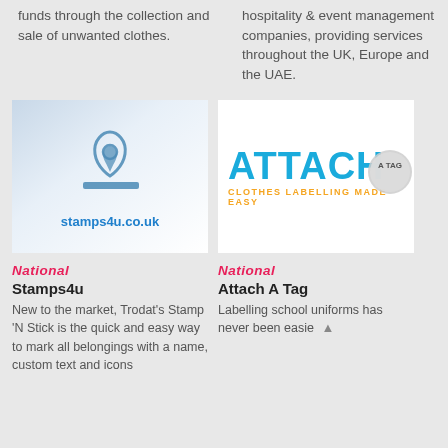funds through the collection and sale of unwanted clothes.
hospitality & event management companies, providing services throughout the UK, Europe and the UAE.
[Figure (logo): Stamps4u.co.uk logo showing a stylized stamp icon on blue-white gradient background with URL stamps4u.co.uk in blue text]
[Figure (logo): Attach A Tag logo showing ATTACH in large blue text with orange subtitle CLOTHES LABELLING MADE EASY and a circular badge saying A TAG]
National
Stamps4u
New to the market, Trodat's Stamp 'N Stick is the quick and easy way to mark all belongings with a name, custom text and icons
National
Attach A Tag
Labelling school uniforms has never been easie ▲